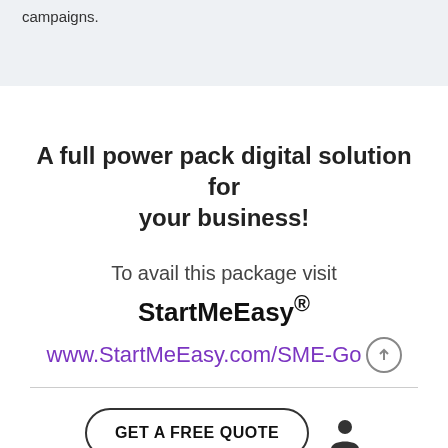campaigns.
A full power pack digital solution for your business!
To avail this package visit
StartMeEasy®
www.StartMeEasy.com/SME-Go↑
GET A FREE QUOTE